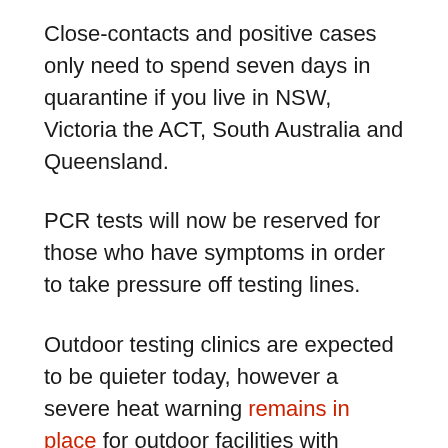Close-contacts and positive cases only need to spend seven days in quarantine if you live in NSW, Victoria the ACT, South Australia and Queensland.
PCR tests will now be reserved for those who have symptoms in order to take pressure off testing lines.
Outdoor testing clinics are expected to be quieter today, however a severe heat warning remains in place for outdoor facilities with temperatures expected to reach 38C today.
Clinics were closed yesterday for health and safety